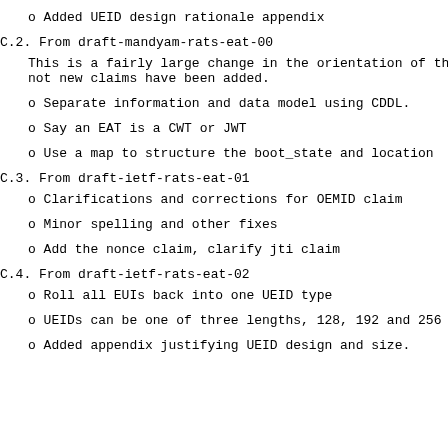o  Added UEID design rationale appendix
C.2.  From draft-mandyam-rats-eat-00
This is a fairly large change in the orientation of th not new claims have been added.
o  Separate information and data model using CDDL.
o  Say an EAT is a CWT or JWT
o  Use a map to structure the boot_state and location
C.3.  From draft-ietf-rats-eat-01
o  Clarifications and corrections for OEMID claim
o  Minor spelling and other fixes
o  Add the nonce claim, clarify jti claim
C.4.  From draft-ietf-rats-eat-02
o  Roll all EUIs back into one UEID type
o  UEIDs can be one of three lengths, 128, 192 and 256
o  Added appendix justifying UEID design and size.